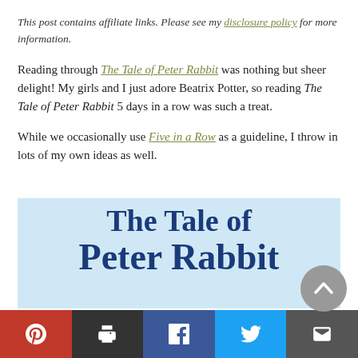This post contains affiliate links. Please see my disclosure policy for more information.
Reading through The Tale of Peter Rabbit was nothing but sheer delight! My girls and I just adore Beatrix Potter, so reading The Tale of Peter Rabbit 5 days in a row was such a treat.
While we occasionally use Five in a Row as a guideline, I throw in lots of my own ideas as well.
[Figure (illustration): Book cover image showing 'The Tale of Peter Rabbit' title in cursive dark blue text on a light blue background, partially visible.]
Social sharing bar with Pinterest, Print, Facebook, Twitter, and Email buttons.